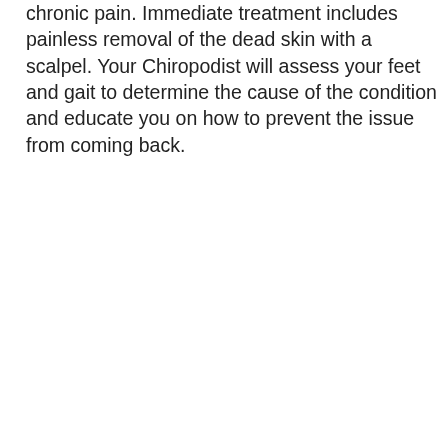chronic pain. Immediate treatment includes painless removal of the dead skin with a scalpel. Your Chiropodist will assess your feet and gait to determine the cause of the condition and educate you on how to prevent the issue from coming back.